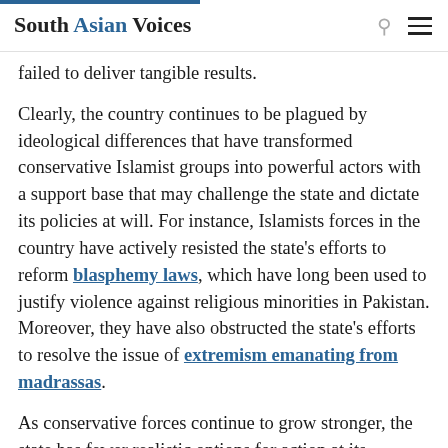South Asian Voices
failed to deliver tangible results.
Clearly, the country continues to be plagued by ideological differences that have transformed conservative Islamist groups into powerful actors with a support base that may challenge the state and dictate its policies at will. For instance, Islamists forces in the country have actively resisted the state's efforts to reform blasphemy laws, which have long been used to justify violence against religious minorities in Pakistan. Moreover, they have also obstructed the state's efforts to resolve the issue of extremism emanating from madrassas.
As conservative forces continue to grow stronger, the state has fewer realistic options for action at its disposal. Their presence in the streets restricts the state's domestic